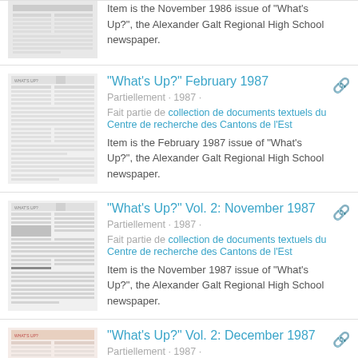[Figure (photo): Thumbnail of newspaper - top entry (partial, cut off at top)]
Item is the November 1986 issue of "What's Up?", the Alexander Galt Regional High School newspaper.
[Figure (photo): Thumbnail of What's Up? February 1987 newspaper]
"What's Up?" February 1987
Partiellement · 1987 ·
Fait partie de collection de documents textuels du Centre de recherche des Cantons de l'Est
Item is the February 1987 issue of "What's Up?", the Alexander Galt Regional High School newspaper.
[Figure (photo): Thumbnail of What's Up? Vol. 2: November 1987 newspaper]
"What's Up?" Vol. 2: November 1987
Partiellement · 1987 ·
Fait partie de collection de documents textuels du Centre de recherche des Cantons de l'Est
Item is the November 1987 issue of "What's Up?", the Alexander Galt Regional High School newspaper.
[Figure (photo): Thumbnail of What's Up? Vol. 2: December 1987 newspaper]
"What's Up?" Vol. 2: December 1987
Partiellement · 1987 ·